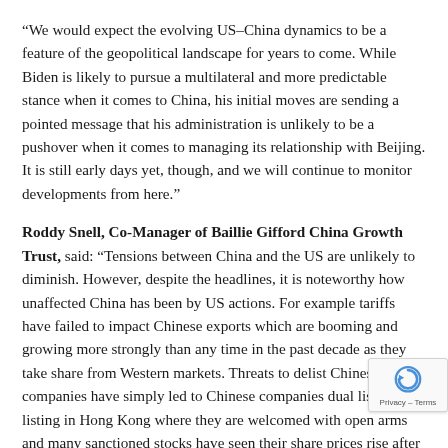“We would expect the evolving US–China dynamics to be a feature of the geopolitical landscape for years to come. While Biden is likely to pursue a multilateral and more predictable stance when it comes to China, his initial moves are sending a pointed message that his administration is unlikely to be a pushover when it comes to managing its relationship with Beijing. It is still early days yet, though, and we will continue to monitor developments from here.”
Roddy Snell, Co-Manager of Baillie Gifford China Growth Trust, said: “Tensions between China and the US are unlikely to diminish. However, despite the headlines, it is noteworthy how unaffected China has been by US actions. For example tariffs have failed to impact Chinese exports which are booming and growing more strongly than any time in the past decade as they take share from Western markets. Threats to delist Chinese companies have simply led to Chinese companies dual listing or listing in Hong Kong where they are welcomed with open arms and many sanctioned stocks have seen their share prices rise after they have been identified b… In the meantime, China has prepared extremely well for fut… tensions by rapidly moving up the manufacturing value chain,